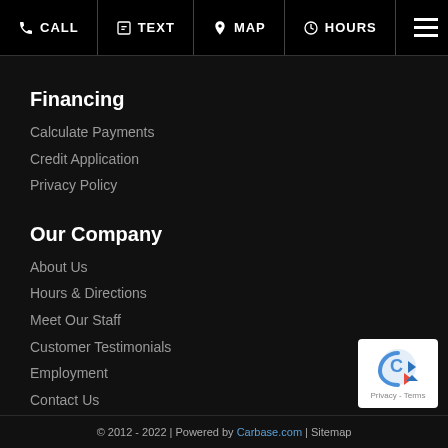CALL | TEXT | MAP | HOURS
Financing
Calculate Payments
Credit Application
Privacy Policy
Our Company
About Us
Hours & Directions
Meet Our Staff
Customer Testimonials
Employment
Contact Us
Contact Us
© 2012 - 2022 | Powered by Carbase.com | Sitemap